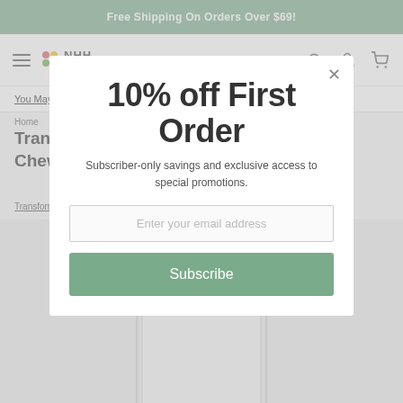Free Shipping On Orders Over $69!
[Figure (logo): NHH Natural Healing House logo with colored dots]
You May Also Like
Home
Transformation Enzymes Kidz Digest Chewable - 180 count
Transformation Enzymes   SKU: TRE-70025
[Figure (photo): White supplement bottle with label, bottom portion visible]
10% off First Order
Subscriber-only savings and exclusive access to special promotions.
Enter your email address
Subscribe